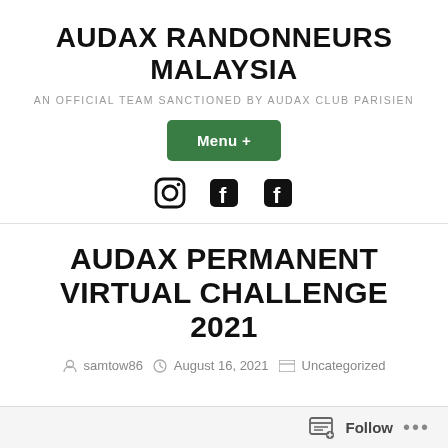AUDAX RANDONNEURS MALAYSIA
AN OFFICIAL TEAM SANCTIONED BY AUDAX CLUB PARISIEN
[Figure (other): Green Menu+ button and social media icons (Instagram, Facebook x2)]
AUDAX PERMANENT VIRTUAL CHALLENGE 2021
samtow86  August 16, 2021  Uncategorized
Follow ...